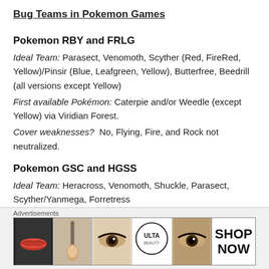Bug Teams in Pokemon Games
Pokemon RBY and FRLG
Ideal Team: Parasect, Venomoth, Scyther (Red, FireRed, Yellow)/Pinsir (Blue, Leafgreen, Yellow), Butterfree, Beedrill (all versions except Yellow)
First available Pokémon: Caterpie and/or Weedle (except Yellow) via Viridian Forest.
Cover weaknesses? No, Flying, Fire, and Rock not neutralized.
Pokemon GSC and HGSS
Ideal Team: Heracross, Venomoth, Shuckle, Parasect, Scyther/Yanmega, Forretress
Advertisements
[Figure (illustration): ULTA beauty advertisement banner with makeup imagery and SHOP NOW text]